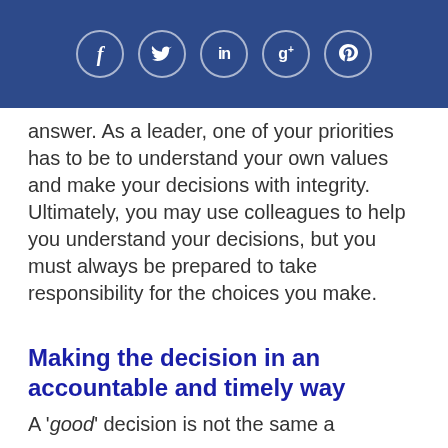[Figure (infographic): Dark blue header bar with five social media icons in circular outlines: Facebook (f), Twitter (bird), LinkedIn (in), Google+ (g+), Pinterest (p)]
answer. As a leader, one of your priorities has to be to understand your own values and make your decisions with integrity. Ultimately, you may use colleagues to help you understand your decisions, but you must always be prepared to take responsibility for the choices you make.
Making the decision in an accountable and timely way
A 'good' decision is not the same a